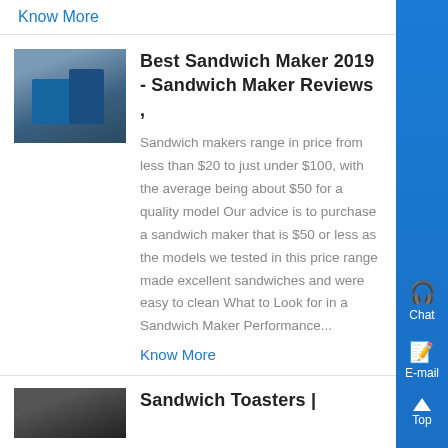Know More
Best Sandwich Maker 2019 - Sandwich Maker Reviews ,
[Figure (photo): Industrial machine or equipment, appears to be a blue industrial plant or mixer, outdoor setting]
Sandwich makers range in price from less than $20 to just under $100, with the average being about $50 for a quality model Our advice is to purchase a sandwich maker that is $50 or less as the models we tested in this price range made excellent sandwiches and were easy to clean What to Look for in a Sandwich Maker Performance...
Know More
Sandwich Toasters |